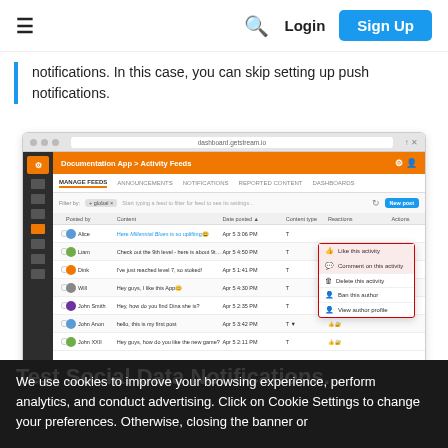≡  🔍  Login  Sign Up
notifications. In this case, you can skip setting up push notifications.
[Figure (screenshot): Screenshot of Documentation App - Activity Feeds dashboard showing Manage Feeds tab with a context menu dropdown containing options: Like this activity (highlighted), Comment on this activity (highlighted), Delete this activity, Ban this author, View author profile]
We use cookies to improve your browsing experience, perform analytics, and conduct advertising. Click on Cookie Settings to change your preferences. Otherwise, closing the banner or